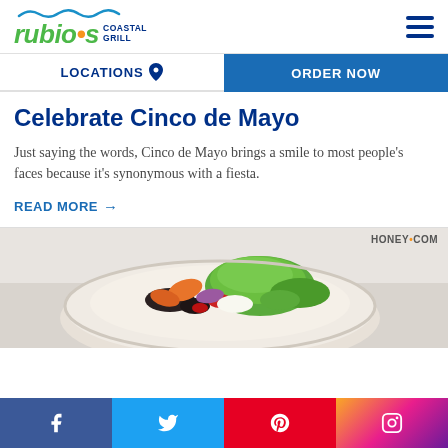[Figure (logo): Rubio's Coastal Grill logo with wave graphic]
LOCATIONS  ORDER NOW
Celebrate Cinco de Mayo
Just saying the words, Cinco de Mayo brings a smile to most people's faces because it's synonymous with a fiesta.
READ MORE →
[Figure (photo): Bowl of food with shrimp, guacamole, black beans, and salad. HONEY.COM watermark visible.]
[Figure (infographic): Social media bar with Facebook, Twitter, Pinterest, and Instagram icons]